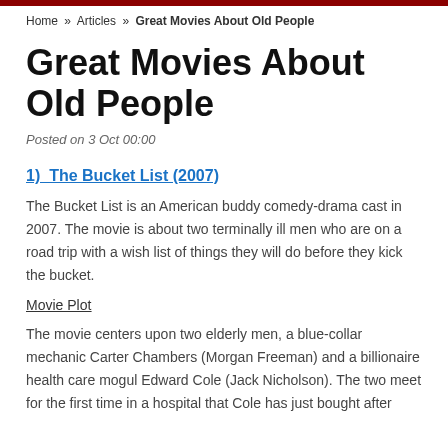Home » Articles » Great Movies About Old People
Great Movies About Old People
Posted on 3 Oct 00:00
1)  The Bucket List (2007)
The Bucket List is an American buddy comedy-drama cast in 2007. The movie is about two terminally ill men who are on a road trip with a wish list of things they will do before they kick the bucket.
Movie Plot
The movie centers upon two elderly men, a blue-collar mechanic Carter Chambers (Morgan Freeman) and a billionaire health care mogul Edward Cole (Jack Nicholson). The two meet for the first time in a hospital that Cole has just bought after